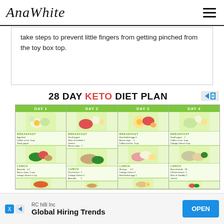AnaWhite
take steps to prevent little fingers from getting pinched from the toy box top.
[Figure (infographic): 28 DAY KETO DIET PLAN advertisement showing a 4-column keto diet plan grid with Day 1, Day 2, Day 3, Day 4. Each column shows BREAKFAST and LUNCH sections with food images and meal items listed.]
[Figure (infographic): Bottom advertisement banner: RC hilli Inc - Global Hiring Trends - OPEN button]